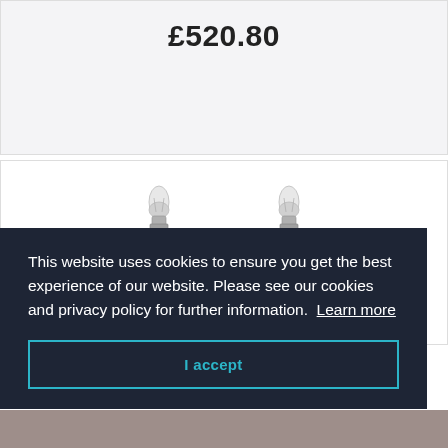£520.80
[Figure (photo): Two candle-style light bulbs with brushed nickel/chrome fittings, shown against a white background]
This website uses cookies to ensure you get the best experience of our website. Please see our cookies and privacy policy for further information.  Learn more
I accept